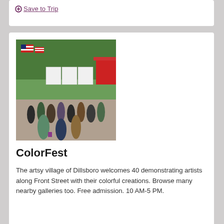Save to Trip   Find & see more.
[Figure (photo): Outdoor street festival with crowds of people walking along a street lined with white tents and booths, American flags visible, trees in background]
ColorFest
The artsy village of Dillsboro welcomes 40 demonstrating artists along Front Street with their colorful creations. Browse many nearby galleries too. Free admission. 10 AM-5 PM.
Save to Trip   Read & see more.
[Figure (photo): Large house or inn with gray/blue siding, multiple chimneys, surrounded by trees under blue sky]